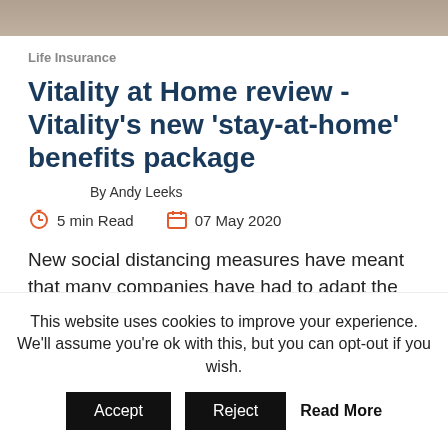[Figure (photo): Top image bar showing partial photo]
Life Insurance
Vitality at Home review - Vitality's new 'stay-at-home' benefits package
By Andy Leeks
5 min Read   07 May 2020
New social distancing measures have meant that many companies have had to adapt the way they do business. Vitality is a business that is well known for the perks that...
This website uses cookies to improve your experience. We'll assume you're ok with this, but you can opt-out if you wish.